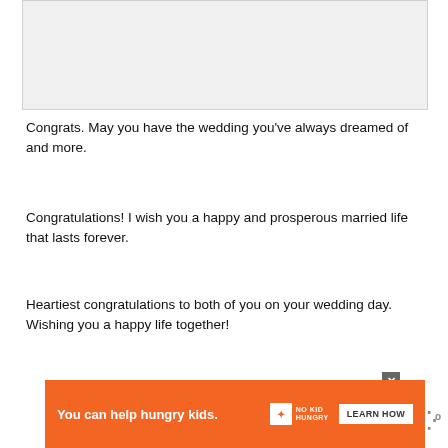[Figure (other): Gray placeholder image area at top of page]
Congrats. May you have the wedding you've always dreamed of and more.
Congratulations! I wish you a happy and prosperous married life that lasts forever.
Heartiest congratulations to both of you on your wedding day. Wishing you a happy life together!
Congratulations on Your Wedding Messages
[Figure (other): Advertisement banner: orange background with text 'You can help hungry kids.' and 'NO KID HUNGRY' logo and 'LEARN HOW' button]